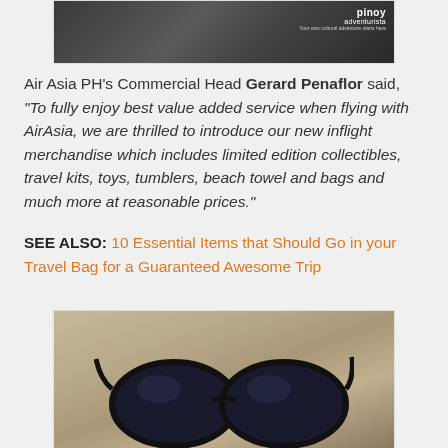[Figure (photo): Photo showing people in dark setting with Pinoy Adventurista logo watermark in top right]
Air Asia PH's Commercial Head Gerard Penaflor said, "To fully enjoy best value added service when flying with AirAsia, we are thrilled to introduce our new inflight merchandise which includes limited edition collectibles, travel kits, toys, tumblers, beach towel and bags and much more at reasonable prices."
SEE ALSO: 10 Essential Items that Should Go in your Travel Bag for a Guaranteed Awesome Trip
[Figure (photo): Photo of black sunglasses on sandy beach]